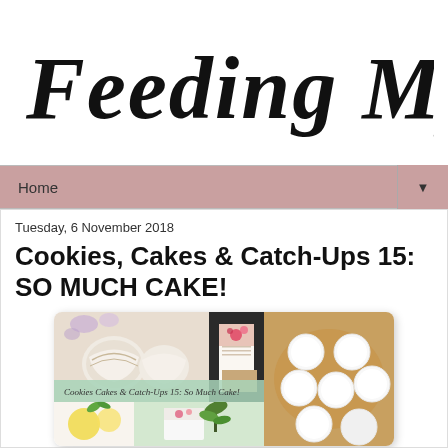Feeding My Addiction
Home
Tuesday, 6 November 2018
Cookies, Cakes & Catch-Ups 15: SO MUCH CAKE!
[Figure (photo): Blog post collage image showing cookies, decorated cakes, and baked goods in a grid layout with text overlay reading 'Cookies Cakes & Catch-Ups 15: So Much Cake!']